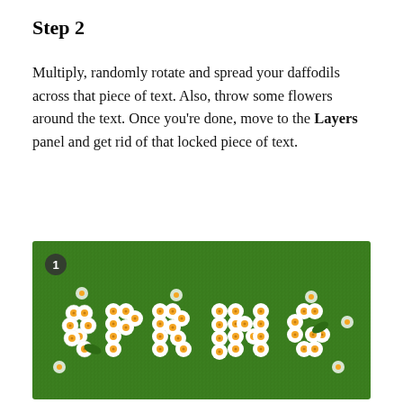Step 2
Multiply, randomly rotate and spread your daffodils across that piece of text. Also, throw some flowers around the text. Once you're done, move to the Layers panel and get rid of that locked piece of text.
[Figure (illustration): Green grass textured background with the word SPRING spelled out using white daisy/daffodil flower illustrations arranged to form each letter. A numbered badge '1' appears in the upper left corner of the image.]